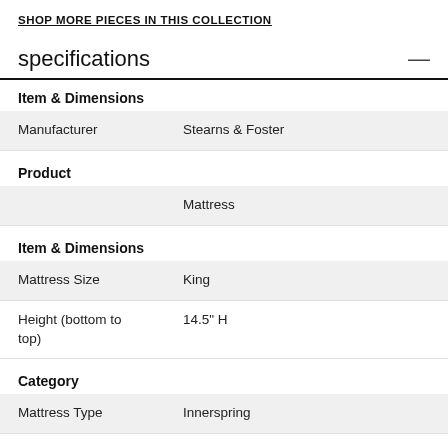SHOP MORE PIECES IN THIS COLLECTION
specifications
|  |  |
| --- | --- |
| Item & Dimensions |  |
| Manufacturer | Stearns & Foster |
| Product |  |
|  | Mattress |
| Item & Dimensions |  |
| Mattress Size | King |
| Height (bottom to top) | 14.5" H |
| Category |  |
| Mattress Type | Innerspring |